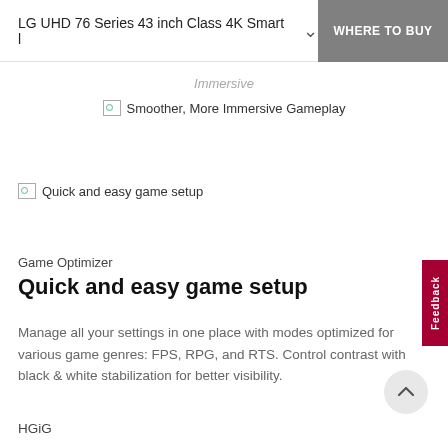LG UHD 76 Series 43 inch Class 4K Smart l  WHERE TO BUY
Immersive
[Figure (photo): Broken image placeholder labeled 'Smoother, More Immersive Gameplay']
[Figure (photo): Broken image placeholder labeled 'Quick and easy game setup']
Game Optimizer
Quick and easy game setup
Manage all your settings in one place with modes optimized for various game genres: FPS, RPG, and RTS. Control contrast with black & white stabilization for better visibility.
HGiG